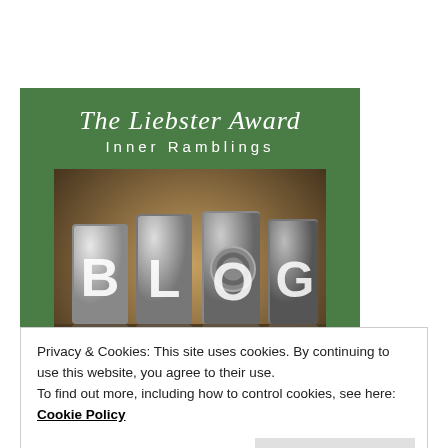[Figure (illustration): The Liebster Award blog banner with green background, italic script title 'The Liebster Award', subtitle 'Inner Ramblings', and a photo of metal letterpress blocks spelling 'BLOG' with reflection below.]
Privacy & Cookies: This site uses cookies. By continuing to use this website, you agree to their use.
To find out more, including how to control cookies, see here: Cookie Policy
Close and accept